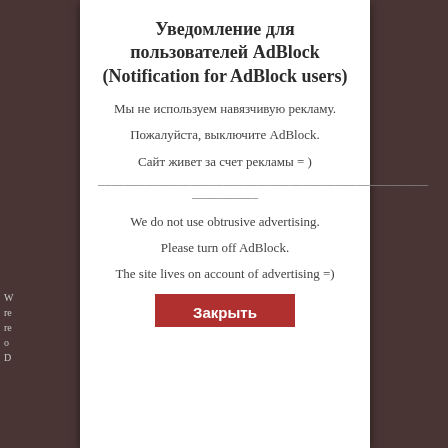Уведомление для пользователей AdBlock (Notification for AdBlock users)
Мы не используем навязчивую рекламу.
Пожалуйста, выключите AdBlock.
Сайт живет за счет рекламы = )
----------------------------------------------------------------------
------------------
We do not use obtrusive advertising.
Please turn off AdBlock.
The site lives on account of advertising =)
Закрыть